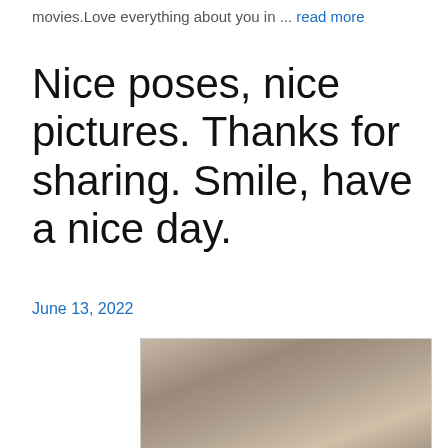movies.Love everything about you in ... read more
Nice poses, nice pictures. Thanks for sharing. Smile, have a nice day.
June 13, 2022
[Figure (photo): A photograph partially visible at the bottom of the page]